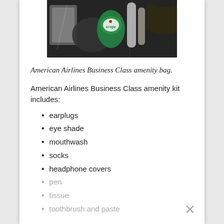[Figure (photo): Photo of American Airlines Business Class amenity bag contents including Scope mouthwash bottle and various packaged toiletry items on a dark background.]
American Airlines Business Class amenity bag.
American Airlines Business Class amenity kit includes:
earplugs
eye shade
mouthwash
socks
headphone covers
pen
tissue
toothbrush and paste